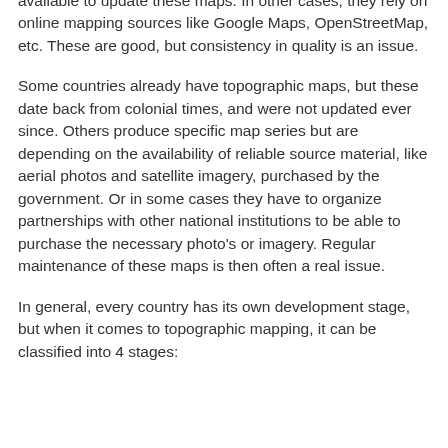available to update these maps. In other cases, they rely on online mapping sources like Google Maps, OpenStreetMap, etc. These are good, but consistency in quality is an issue.
Some countries already have topographic maps, but these date back from colonial times, and were not updated ever since. Others produce specific map series but are depending on the availability of reliable source material, like aerial photos and satellite imagery, purchased by the government. Or in some cases they have to organize partnerships with other national institutions to be able to purchase the necessary photo's or imagery. Regular maintenance of these maps is then often a real issue.
In general, every country has its own development stage, but when it comes to topographic mapping, it can be classified into 4 stages: